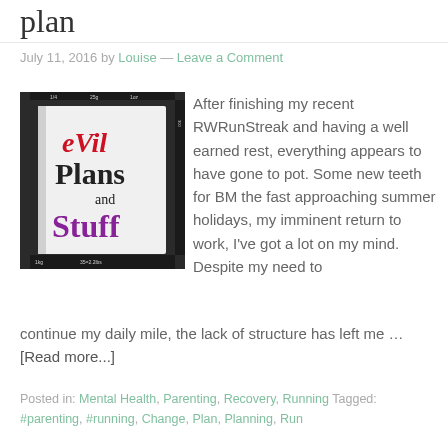plan
July 11, 2016 by Louise — Leave a Comment
[Figure (photo): Photo of a book cover titled 'eVil Plans and Stuff' with stylized typography — 'eVil' in red, 'Plans' in black bold, 'and' in small black, 'Stuff' in purple, white cover on dark background with ruler markings]
After finishing my recent RWRunStreak and having a well earned rest, everything appears to have gone to pot. Some new teeth for BM the fast approaching summer holidays, my imminent return to work, I've got a lot on my mind. Despite my need to continue my daily mile, the lack of structure has left me … [Read more...]
Posted in: Mental Health, Parenting, Recovery, Running Tagged: #parenting, #running, Change, Plan, Planning, Run